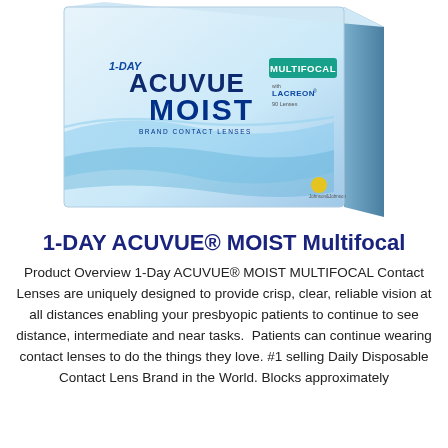[Figure (photo): Product box image of 1-DAY ACUVUE MOIST Multifocal contact lenses, white and light blue box with brand markings, angled view]
1-DAY ACUVUE® MOIST Multifocal
Product Overview 1-Day ACUVUE® MOIST MULTIFOCAL Contact Lenses are uniquely designed to provide crisp, clear, reliable vision at all distances enabling your presbyopic patients to continue to see distance, intermediate and near tasks. Patients can continue wearing contact lenses to do the things they love. #1 selling Daily Disposable Contact Lens Brand in the World. Blocks approximately